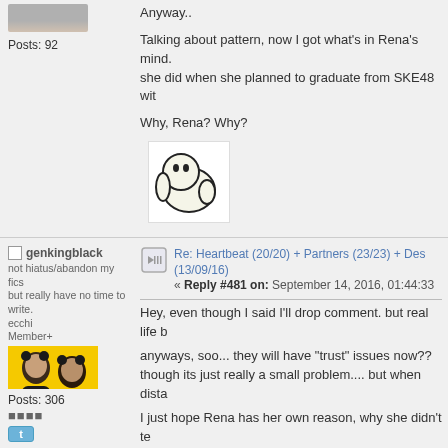Anyway..
Talking about pattern, now I got what's in Rena's mind. she did when she planned to graduate from SKE48 wit
Why, Rena? Why?
[Figure (illustration): Cartoon emoticon of a sad/crying round character hunched over]
Posts: 92
genkingblack
not hiatus/abandon my fics but really have no time to write.
ecchi
Member+
[Figure (photo): Two people posing on yellow background, wearing animal ear hats]
Posts: 306
Re: Heartbeat (20/20) + Partners (23/23) + Des (13/09/16)
« Reply #481 on: September 14, 2016, 01:44:33
Hey, even though I said I'll drop comment. but real life b
anyways, soo... they will have "trust" issues now??
though its just really a small problem.... but when dista
I just hope Rena has her own reason, why she didn't te
ps. your latest fic, its good! Though its still full with mys